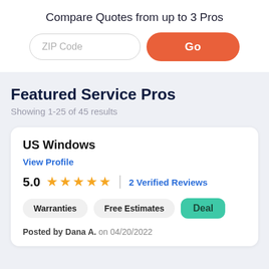Compare Quotes from up to 3 Pros
[Figure (screenshot): ZIP Code input field and Go button]
Featured Service Pros
Showing 1-25 of 45 results
US Windows
View Profile
5.0  ★★★★★  |  2 Verified Reviews
Warranties  Free Estimates  Deal
Posted by Dana A. on 04/20/2022